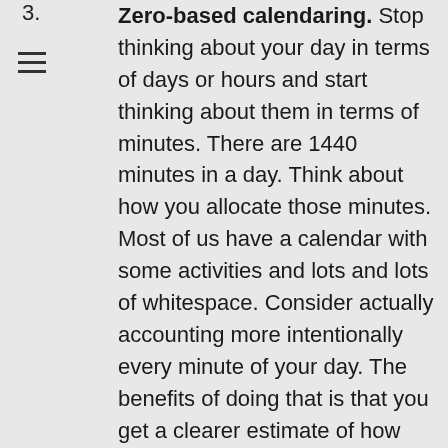3. Zero-based calendaring. Stop thinking about your day in terms of days or hours and start thinking about them in terms of minutes. There are 1440 minutes in a day. Think about how you allocate those minutes. Most of us have a calendar with some activities and lots and lots of whitespace. Consider actually accounting more intentionally every minute of your day. The benefits of doing that is that you get a clearer estimate of how long each task will take. The problem with To Do lists is they're very, very long, but you haven't thought about whether they're actually achievable. So if you assign a time then before you even start down that perilous path, you're